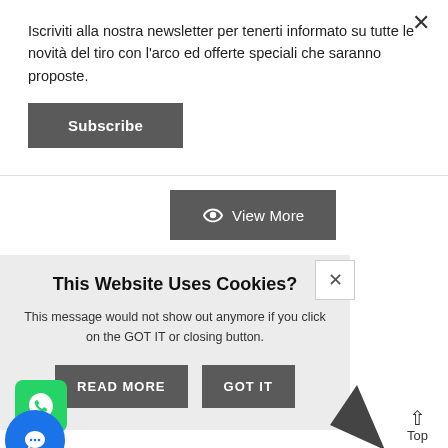Iscriviti alla nostra newsletter per tenerti informato su tutte le novità del tiro con l'arco ed offerte speciali che saranno proposte.
Subscribe
View More
This Website Uses Cookies?
This message would not show out anymore if you click on the GOT IT or closing button.
READ MORE
GOT IT
Top